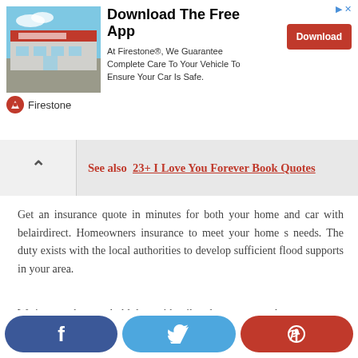[Figure (infographic): Firestone app advertisement banner with building photo, title 'Download The Free App', descriptive text, and a red Download button]
See also  23+ I Love You Forever Book Quotes
Get an insurance quote in minutes for both your home and car with belairdirect. Homeowners insurance to meet your home s needs. The duty exists with the local authorities to develop sufficient flood supports in your area.
We insure what you hold dear with tailored coverage so that you can get back to what matters most. Bundling home and auto insurance.
[Figure (infographic): Social sharing buttons: Facebook (dark blue), Twitter (light blue), Pinterest (red)]